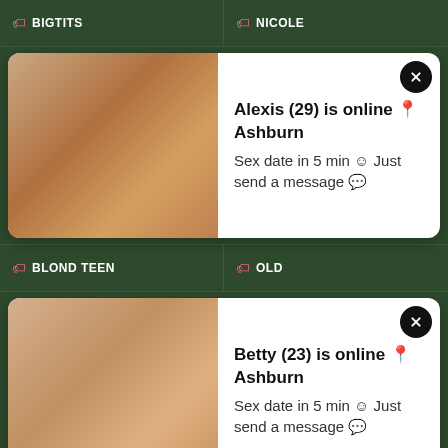BIGTITS
NICOLE
[Figure (photo): Ad popup: Alexis (29) is online in Ashburn. Sex date in 5 min. Just send a message.]
BLOND TEEN
OLD
[Figure (photo): Ad popup: Betty (23) is online in Ashburn. Sex date in 5 min. Just send a message.]
BLOWJOB
ORGY
BLOWJOB & CUM
OUTDOOR
BLOWJOB & CUMSHOT
OUTDOORS
BONDAGE
POV BLOWJOB
BRUNETTE
PAIN